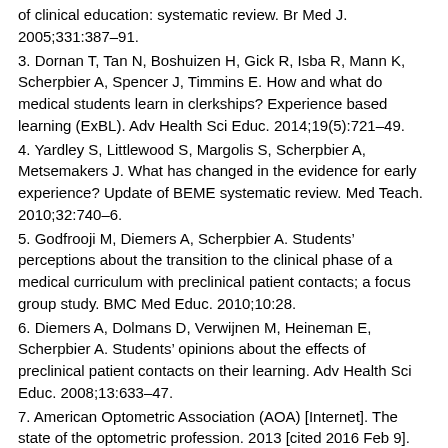of clinical education: systematic review. Br Med J. 2005;331:387–91.
3. Dornan T, Tan N, Boshuizen H, Gick R, Isba R, Mann K, Scherpbier A, Spencer J, Timmins E. How and what do medical students learn in clerkships? Experience based learning (ExBL). Adv Health Sci Educ. 2014;19(5):721–49.
4. Yardley S, Littlewood S, Margolis S, Scherpbier A, Metsemakers J. What has changed in the evidence for early experience? Update of BEME systematic review. Med Teach. 2010;32:740–6.
5. Godfrooji M, Diemers A, Scherpbier A. Students' perceptions about the transition to the clinical phase of a medical curriculum with preclinical patient contacts; a focus group study. BMC Med Educ. 2010;10:28.
6. Diemers A, Dolmans D, Verwijnen M, Heineman E, Scherpbier A. Students' opinions about the effects of preclinical patient contacts on their learning. Adv Health Sci Educ. 2008;13:633–47.
7. American Optometric Association (AOA) [Internet]. The state of the optometric profession. 2013 [cited 2016 Feb 9]. Available from: https://www.aoa.org/Documents/news/state_of_optometry.pdf.
8. Association of Schools and Colleges of Optometry (ASCO) [Internet]. Optometry: A Career Guide. 2013. [cited 2016 Feb 9]. Available from: http://www.opted.org/wp-